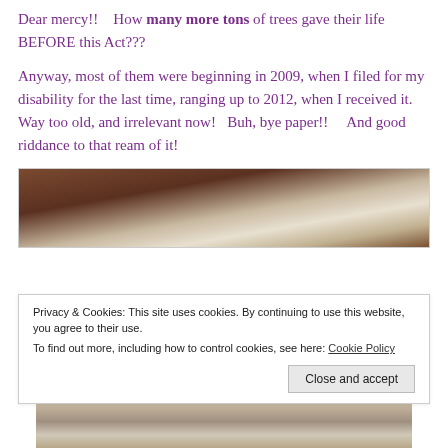Dear mercy!!    How many more tons of trees gave their life BEFORE this Act???
Anyway, most of them were beginning in 2009, when I filed for my disability for the last time, ranging up to 2012, when I received it.    Way too old, and irrelevant now!   Buh, bye paper!!     And good riddance to that ream of it!
[Figure (photo): Close-up photo of hands handling paper documents, with white paper visible.]
Privacy & Cookies: This site uses cookies. By continuing to use this website, you agree to their use.
To find out more, including how to control cookies, see here: Cookie Policy
[Figure (photo): Bottom portion of a photo showing paper documents or sheets.]